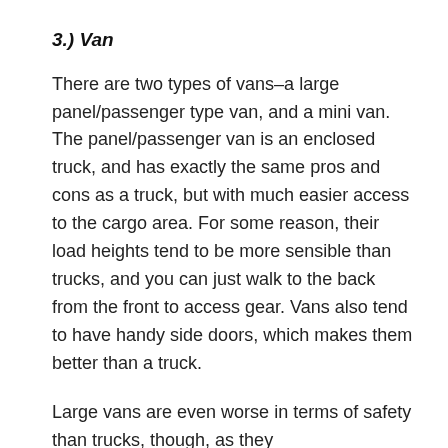3.) Van
There are two types of vans–a large panel/passenger type van, and a mini van.  The panel/passenger van is an enclosed truck, and has exactly the same pros and cons as a truck, but with much easier access to the cargo area.  For some reason, their load heights tend to be more sensible than trucks, and you can just walk to the back from the front to access gear.  Vans also tend to have handy side doors, which makes them better than a truck.
Large vans are even worse in terms of safety than trucks, though, as they